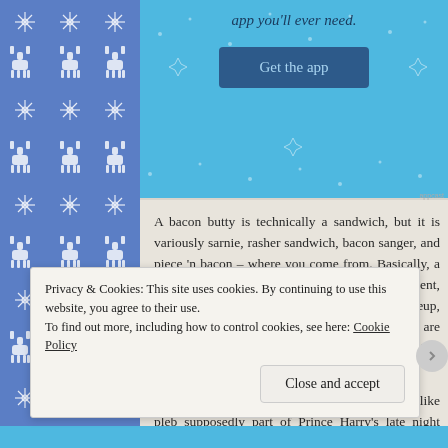[Figure (illustration): Blue Nordic/fair-isle knit pattern sidebar with reindeer and snowflake motifs in white on blue background]
[Figure (screenshot): Light blue app promotion banner with text 'app you'll ever need.' and a dark blue 'Get the app' button]
A bacon butty is technically a sandwich, but it is variously sarnie, rasher sandwich, bacon sanger, and piece 'n bacon – where you come from. Basically, a bacon butty is a slab of topped with a condiment, smashed between two pieces of br the basic makeup, the details of this dish are liable to a thousa and are the source of heated debate (nearly to church-schism p
Remember: While the bacon butty may look like pleb supposedly part of Prince Harry's late night breakfast after celebrations.
Privacy & Cookies: This site uses cookies. By continuing to use this website, you agree to their use. To find out more, including how to control cookies, see here: Cookie Policy
Close and accept